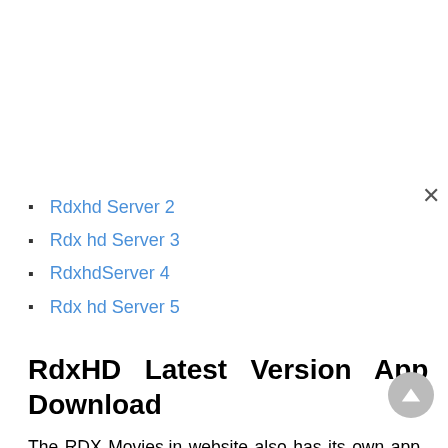Rdxhd Server 2
Rdx hd Server 3
RdxhdServer 4
Rdx hd Server 5
RdxHD Latest Version App Download
The RDX Movies.in website also has its own app which is very user-friendly, which is very easy to use because the UI of this application is very easy to access. With this app you can download and